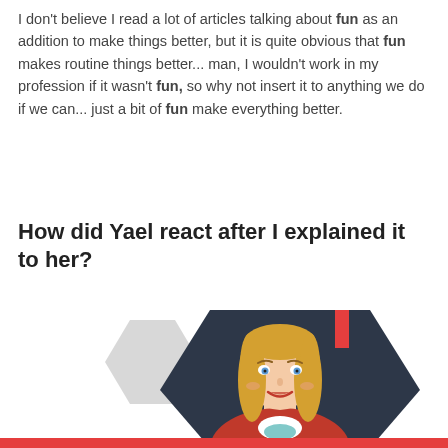I don't believe I read a lot of articles talking about fun as an addition to make things better, but it is quite obvious that fun makes routine things better... man, I wouldn't work in my profession if it wasn't fun, so why not insert it to anything we do if we can... just a bit of fun make everything better.
How did Yael react after I explained it to her?
[Figure (illustration): Flat vector illustration of a smiling woman with long blonde hair and blue eyes, wearing a red jacket over a white and teal top, set against a dark navy hexagon background with a smaller grey hexagon and a red accent bar at the top. The figure is cropped at the bottom.]